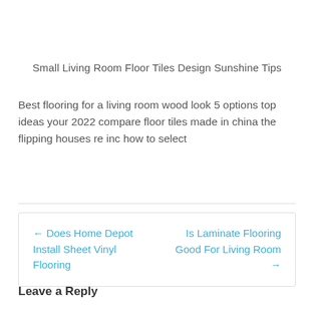Small Living Room Floor Tiles Design Sunshine Tips
Best flooring for a living room wood look 5 options top ideas your 2022 compare floor tiles made in china the flipping houses re inc how to select
← Does Home Depot Install Sheet Vinyl Flooring
Is Laminate Flooring Good For Living Room →
Leave a Reply